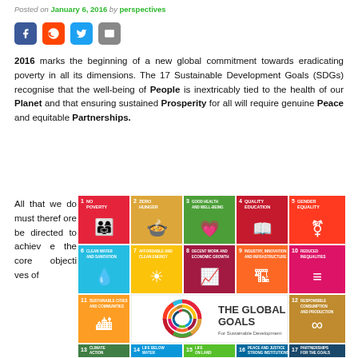Posted on January 6, 2016 by perspectives
[Figure (infographic): Social media share buttons: Facebook, Reddit, Twitter, Email]
2016 marks the beginning of a new global commitment towards eradicating poverty in all its dimensions. The 17 Sustainable Development Goals (SDGs) recognise that the well-being of People is inextricably tied to the health of our Planet and that ensuring sustained Prosperity for all will require genuine Peace and equitable Partnerships.
All that we do must therefore be directed to achieve the core objectives of
[Figure (infographic): The Global Goals for Sustainable Development SDG icon grid showing all 17 goals with colored tiles: 1 No Poverty, 2 Zero Hunger, 3 Good Health and Well-Being, 4 Quality Education, 5 Gender Equality, 6 Clean Water and Sanitation, 7 Affordable and Clean Energy, 8 Decent Work and Economic Growth, 9 Industry Innovation and Infrastructure, 10 Reduced Inequalities, 11 Sustainable Cities and Communities, 12 Responsible Consumption and Production, 13 Climate Action, 14 Life Below Water, 15 Life on Land, 16 Peace and Justice Strong Institutions, 17 Partnerships for the Goals]